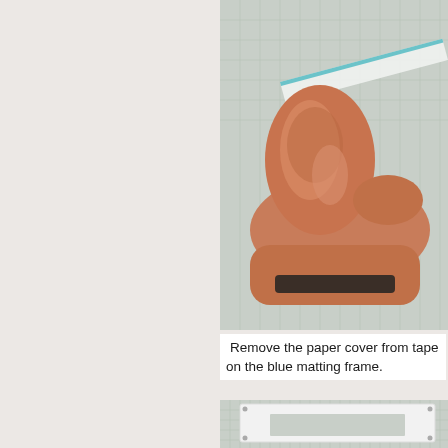[Figure (photo): Close-up of hands peeling or removing paper from tape/adhesive on a cutting mat with grid lines and a ruler visible in the background]
Remove the paper cover from tape on the blue matting frame.
[Figure (photo): Top-down view of a white matting frame on a cutting mat with grid lines, showing the frame with small corner markers]